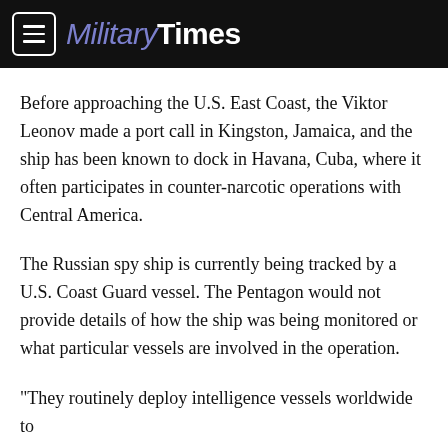Military Times
Before approaching the U.S. East Coast, the Viktor Leonov made a port call in Kingston, Jamaica, and the ship has been known to dock in Havana, Cuba, where it often participates in counter-narcotic operations with Central America.
The Russian spy ship is currently being tracked by a U.S. Coast Guard vessel. The Pentagon would not provide details of how the ship was being monitored or what particular vessels are involved in the operation.
"They routinely deploy intelligence vessels worldwide to